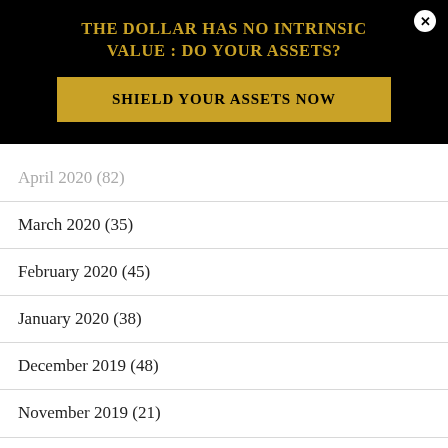THE DOLLAR HAS NO INTRINSIC VALUE : DO YOUR ASSETS?
SHIELD YOUR ASSETS NOW
April 2020 (82)
March 2020 (35)
February 2020 (45)
January 2020 (38)
December 2019 (48)
November 2019 (21)
October 2019 (36)
September 2019 (33)
August 2019 (26)